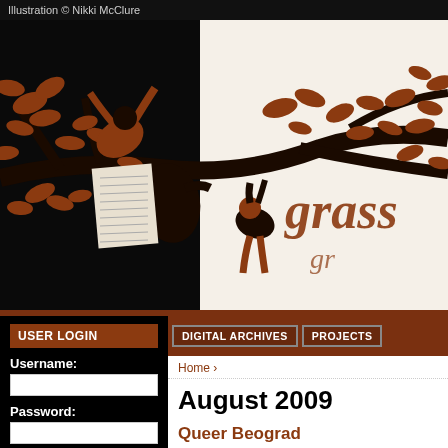Illustration © Nikki McClure
[Figure (illustration): Illustration by Nikki McClure showing figures climbing a tree with brown leaves, holding papers. The word 'grass' is visible in brown stylized text on the right side. Black and brown color scheme.]
USER LOGIN
Username:
Password:
Create new account
Request new password
Log in
DIGITAL ARCHIVES
PROJECTS
Home ›
August 2009
Queer Beograd